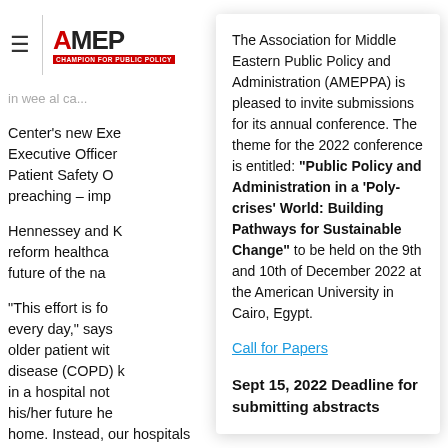AMEPPA logo and navigation header
in w... al ca...
Center's new Exe Executive Officer Patient Safety O preaching – imp
Hennessey and k reform healthca future of the na
"This effort is fo every day," says older patient wit disease (COPD) k in a hospital not his/her future he home. Instead, our hospitals could spend those one
The Association for Middle Eastern Public Policy and Administration (AMEPPA) is pleased to invite submissions for its annual conference. The theme for the 2022 conference is entitled: “Public Policy and Administration in a ‘Poly-crises’ World: Building Pathways for Sustainable Change” to be held on the 9th and 10th of December 2022 at the American University in Cairo, Egypt.
Call for Papers
Sept 15, 2022 Deadline for submitting abstracts